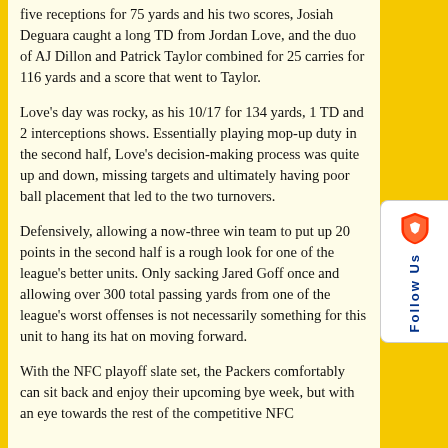five receptions for 75 yards and his two scores, Josiah Deguara caught a long TD from Jordan Love, and the duo of AJ Dillon and Patrick Taylor combined for 25 carries for 116 yards and a score that went to Taylor.
Love's day was rocky, as his 10/17 for 134 yards, 1 TD and 2 interceptions shows. Essentially playing mop-up duty in the second half, Love's decision-making process was quite up and down, missing targets and ultimately having poor ball placement that led to the two turnovers.
Defensively, allowing a now-three win team to put up 20 points in the second half is a rough look for one of the league's better units. Only sacking Jared Goff once and allowing over 300 total passing yards from one of the league's worst offenses is not necessarily something for this unit to hang its hat on moving forward.
With the NFC playoff slate set, the Packers comfortably can sit back and enjoy their upcoming bye week, but with an eye towards the rest of the competitive NFC
[Figure (logo): Brave browser Follow Us sidebar widget with shield logo and vertical Follow Us text in blue]